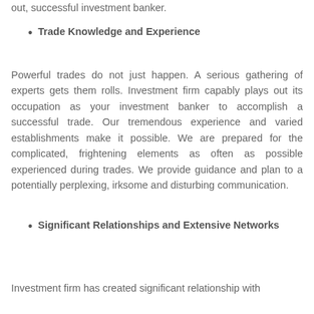Trade Knowledge and Experience
Powerful trades do not just happen. A serious gathering of experts gets them rolls. Investment firm capably plays out its occupation as your investment banker to accomplish a successful trade. Our tremendous experience and varied establishments make it possible. We are prepared for the complicated, frightening elements as often as possible experienced during trades. We provide guidance and plan to a potentially perplexing, irksome and disturbing communication.
Significant Relationships and Extensive Networks
Investment firm has created significant relationship with